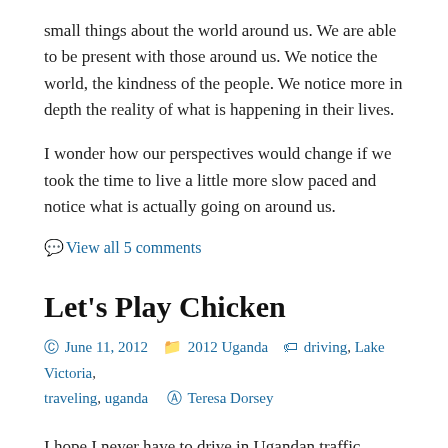small things about the world around us. We are able to be present with those around us. We notice the world, the kindness of the people. We notice more in depth the reality of what is happening in their lives.
I wonder how our perspectives would change if we took the time to live a little more slow paced and notice what is actually going on around us.
View all 5 comments
Let's Play Chicken
June 11, 2012   2012 Uganda   driving, Lake Victoria, traveling, uganda   Teresa Dorsey
I hope I never have to drive in Ugandan traffic.  These past